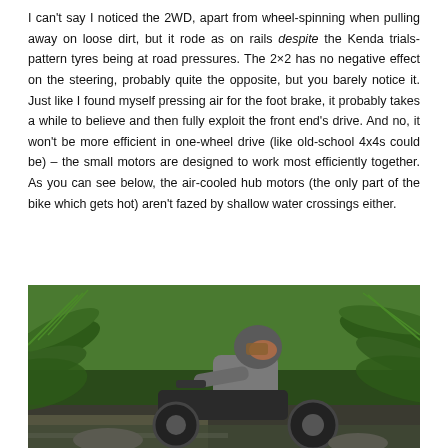I can't say I noticed the 2WD, apart from wheel-spinning when pulling away on loose dirt, but it rode as on rails despite the Kenda trials-pattern tyres being at road pressures. The 2×2 has no negative effect on the steering, probably quite the opposite, but you barely notice it. Just like I found myself pressing air for the foot brake, it probably takes a while to believe and then fully exploit the front end's drive. And no, it won't be more efficient in one-wheel drive (like old-school 4x4s could be) – the small motors are designed to work most efficiently together. As you can see below, the air-cooled hub motors (the only part of the bike which gets hot) aren't fazed by shallow water crossings either.
[Figure (photo): A person wearing a helmet and grey hoodie riding a motorcycle through a lush green forest area with ferns and vegetation, apparently crossing a shallow water crossing.]